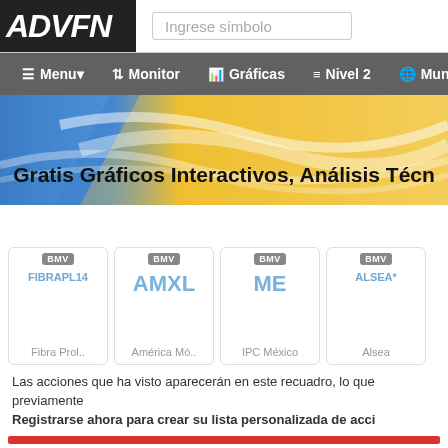ADVFN
Ingrese símbolo
Menu ▾  Monitor  Gráficas  Nivel 2  Mun
[Figure (illustration): ADVFN banner with yellow/blue gradient background and wave design. Text reads: Gratis Gráficos Interactivos, Análisis Técn]
BMV FIBRAPL14 Fibra Prol..   BMV AMXL América Mó..   BMV ME IPC México   BMV ALSEA* Alsea
Las acciones que ha visto aparecerán en este recuadro, lo que previamente
Registrarse ahora para crear su lista personalizada de acci